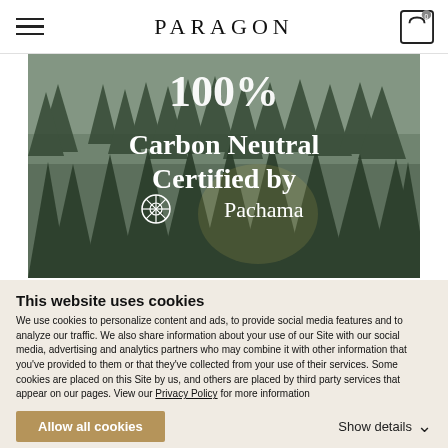PARAGON
[Figure (photo): Forest of tall evergreen trees in misty fog with overlaid text reading '100% Carbon Neutral Certified by Pachama' in white on a dark green forest background]
This website uses cookies
We use cookies to personalize content and ads, to provide social media features and to analyze our traffic. We also share information about your use of our Site with our social media, advertising and analytics partners who may combine it with other information that you've provided to them or that they've collected from your use of their services. Some cookies are placed on this Site by us, and others are placed by third party services that appear on our pages. View our Privacy Policy for more information
Allow all cookies
Show details